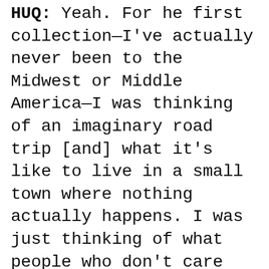HUQ: Yeah. For he first collection—I've actually never been to the Midwest or Middle America—I was thinking of an imaginary road trip [and] what it's like to live in a small town where nothing actually happens. I was just thinking of what people who don't care about fashion wear: people who just buy a t-shirt to cover themselves, people who just buy jeans to cover themselves. That kind of necessity of clothing rather than getting dressed up. That's what I was thinking of for the first collection. The story came into Middle America, suburbia.